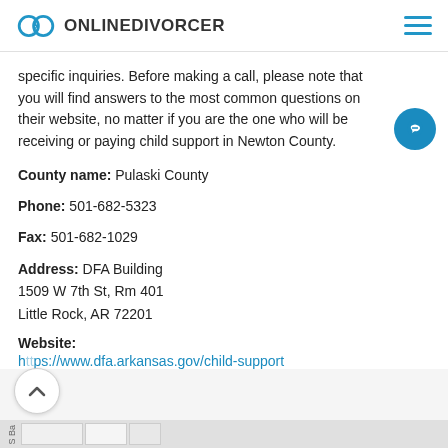ONLINEDIVORCER
specific inquiries. Before making a call, please note that you will find answers to the most common questions on their website, no matter if you are the one who will be receiving or paying child support in Newton County.
County name: Pulaski County
Phone: 501-682-5323
Fax: 501-682-1029
Address: DFA Building
1509 W 7th St, Rm 401
Little Rock, AR 72201
Website:
https://www.dfa.arkansas.gov/child-support